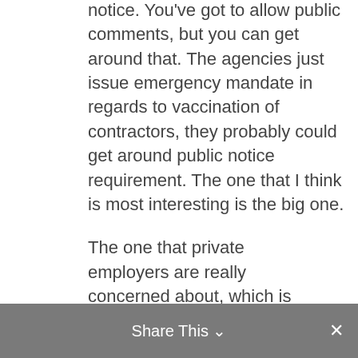notice. You've got to allow public comments, but you can get around that. The agencies just issue emergency mandate in regards to vaccination of contractors, they probably could get around public notice requirement. The one that I think is most interesting is the big one.
The one that private employers are really concerned about, which is President Biden's directing, yeah directing OSHA to issue an emergency temporary standard requiring employers who have 100 employees or more, require vaccination or offer alternatively require testing every week, on at least a weekly basis, to opt out of vaccination.
Candee Chambers:
Yeah.
Share This ∨   ×